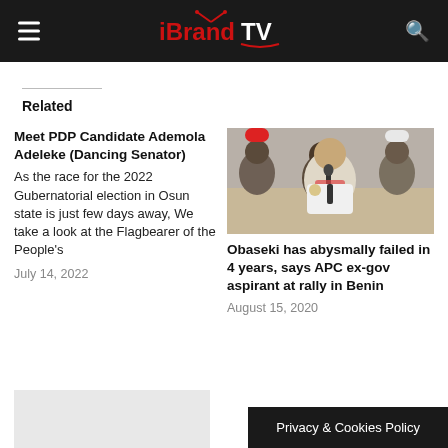iBrandTV
Related
Meet PDP Candidate Ademola Adeleke (Dancing Senator)
As the race for the 2022 Gubernatorial election in Osun state is just few days away, We take a look at the Flagbearer of the People's
July 14, 2022
[Figure (photo): Man speaking at a microphone at a political rally surrounded by people in white shirts and caps]
Obaseki has abysmally failed in 4 years, says APC ex-gov aspirant at rally in Benin
August 15, 2020
Privacy & Cookies Policy